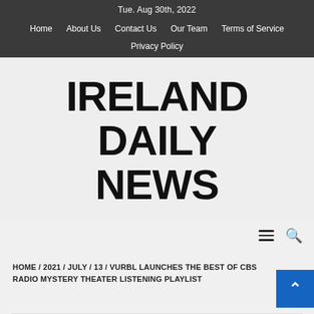Tue. Aug 30th, 2022
Home | About Us | Contact Us | Our Team | Terms of Service | Privacy Policy
IRELAND DAILY NEWS
HOME / 2021 / JULY / 13 / VURBL LAUNCHES THE BEST OF CBS RADIO MYSTERY THEATER LISTENING PLAYLIST